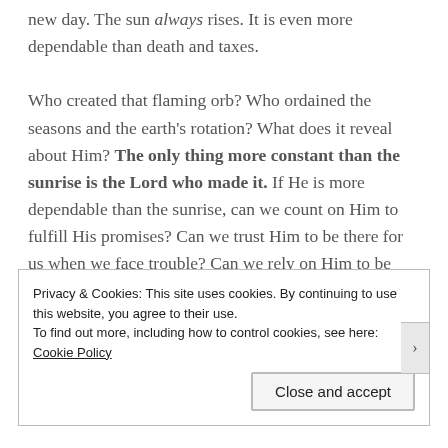new day. The sun always rises. It is even more dependable than death and taxes.

Who created that flaming orb? Who ordained the seasons and the earth's rotation? What does it reveal about Him? The only thing more constant than the sunrise is the Lord who made it. If He is more dependable than the sunrise, can we count on Him to fulfill His promises? Can we trust Him to be there for us when we face trouble? Can we rely on Him to be present in our despair?
Privacy & Cookies: This site uses cookies. By continuing to use this website, you agree to their use.
To find out more, including how to control cookies, see here: Cookie Policy